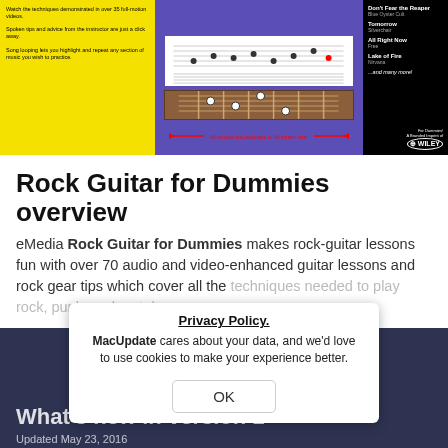[Figure (screenshot): Screenshot of Rock Guitar for Dummies software showing yellow panel with feature tips, purple center panel with guitar notation and fretboard, black right panel with song list including 'Don't Fear the Reaper' by Blue Oyster Cult, 'Tomorrow' by Silverchair, 'All Right Now' by Free, 'Lake of Fire' by Nirvana, '...and many more!', and Wiley logo. Red arrow bar at bottom reads 'All lessons are presented at full screen size!']
Rock Guitar for Dummies overview
eMedia Rock Guitar for Dummies makes rock-guitar lessons fun with over 70 audio and video-enhanced guitar lessons and rock gear tips which cover all the techniques needed to play rock, punk, and metal,
Read more
Privacy Policy.
MacUpdate cares about your data, and we'd love to use cookies to make your experience better.
OK
What's new in version 1